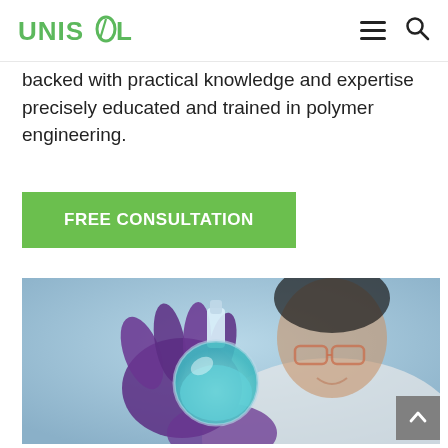UNISOL
backed with practical knowledge and expertise precisely educated and trained in polymer engineering.
FREE CONSULTATION
[Figure (photo): A scientist wearing purple gloves and safety glasses holds up a round-bottom flask containing a blue liquid in a laboratory setting, smiling.]